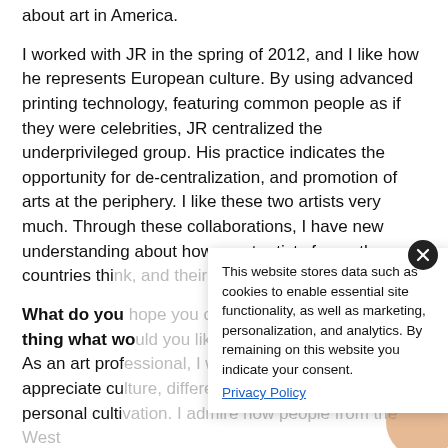about art in America.
I worked with JR in the spring of 2012, and I like how he represents European culture. By using advanced printing technology, featuring common people as if they were celebrities, JR centralized the underprivileged group. His practice indicates the opportunity for de-centralization, and promotion of arts at the periphery. I like these two artists very much. Through these collaborations, I have new understanding about how great artists from other countries think, and their places in their own cultures.
What do you hope you can change or improve one thing what would you like to change?
As an art professional, I wish Chinese people would appreciate culture, different ways of thinking, and personal cultivation. I admire how people from the West love art as if the ability to appreciate art is in their nature. Since art can help us to liberate the mind and the taste of the entire nation, if I can change one thing, I hope people would reconsider their perceptions on art, especially on
This website stores data such as cookies to enable essential site functionality, as well as marketing, personalization, and analytics. By remaining on this website you indicate your consent.
Privacy Policy